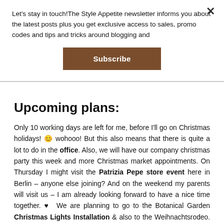Let's stay in touch!The Style Appetite newsletter informs you about the latest posts plus you get exclusive access to sales, promo codes and tips and tricks around blogging and
Subscribe
Upcoming plans:
Only 10 working days are left for me, before I'll go on Christmas holidays! 😊 wohooo! But this also means that there is quite a lot to do in the office. Also, we will have our company christmas party this week and more Christmas market appointments. On Thursday I might visit the Patrizia Pepe store event here in Berlin – anyone else joining? And on the weekend my parents will visit us – I am already looking forward to have a nice time together. ♥  We are planning to go to the Botanical Garden Christmas Lights Installation & also to the Weihnachtsrodeo. 😊